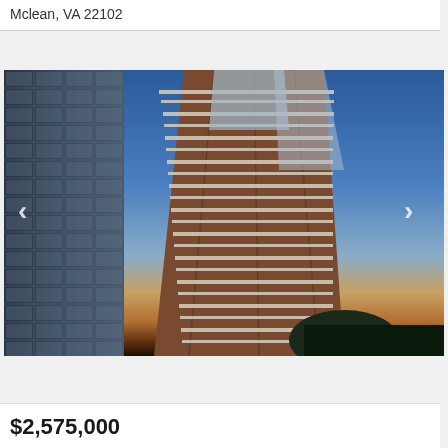Mclean, VA 22102
[Figure (photo): Exterior rendering of a modern high-rise condominium tower with glass and brick facade, multiple balconies, photographed at dusk against a blue-to-orange gradient sky. Navigation arrows on left and right sides of image.]
$2,575,000